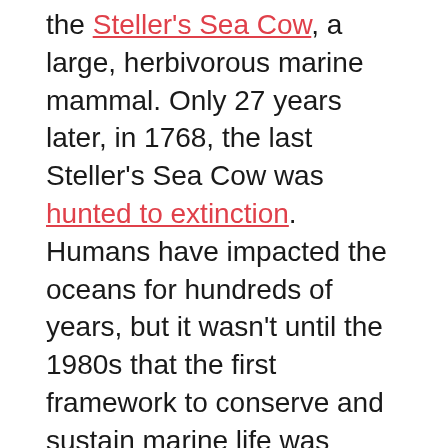the Steller's Sea Cow, a large, herbivorous marine mammal. Only 27 years later, in 1768, the last Steller's Sea Cow was hunted to extinction. Humans have impacted the oceans for hundreds of years, but it wasn't until the 1980s that the first framework to conserve and sustain marine life was introduced. By this point, the abundance of marine life had already been greatly reduced, and ocean habitats were in trouble.
The ocean provides humanity with food, jobs, culture and acts as an international highway connecting our globalised planet. Yet our destructive attitude towards the ocean as an inexhaustible resource has led to overfishing, pollution and habitat destruction. Coral reefs